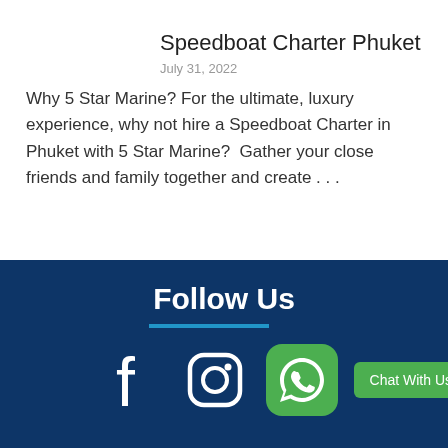Speedboat Charter Phuket
July 31, 2022
Why 5 Star Marine? For the ultimate, luxury experience, why not hire a Speedboat Charter in Phuket with 5 Star Marine?  Gather your close friends and family together and create . . .
Follow Us
[Figure (illustration): Social media icons row: Facebook, Instagram, WhatsApp (green rounded square), and a green Chat With Us button]